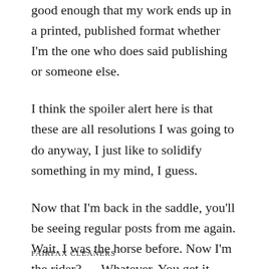good enough that my work ends up in a printed, published format whether I'm the one who does said publishing or someone else.
I think the spoiler alert here is that these are all resolutions I was going to do anyway, I just like to solidify something in my mind, I guess.
Now that I'm back in the saddle, you'll be seeing regular posts from me again. Wait. I was the horse before. Now I'm the rider? … Whatever. You get it.
FAIRFAX CLEANERS